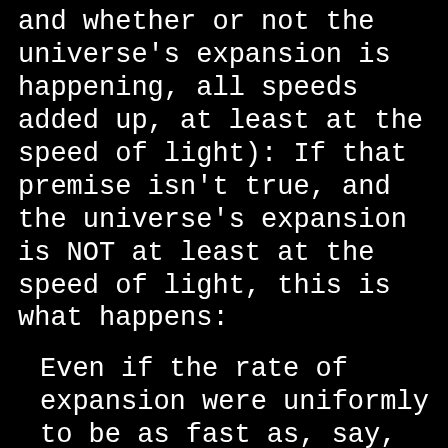and whether or not the universe's expansion is happening, all speeds added up, at least at the speed of light): If that premise isn't true, and the universe's expansion is NOT at least at the speed of light, this is what happens:
Even if the rate of expansion were uniformly to be as fast as, say, one quarter the speed of light... you can see that it would not have taken the observed twin one billion years to have reached his position one billion "light years" from the observing twin but considerably more than this. And, in fact, a monstrously huge amount more: Our observer twin could not possibly be a mere/absolute one billion